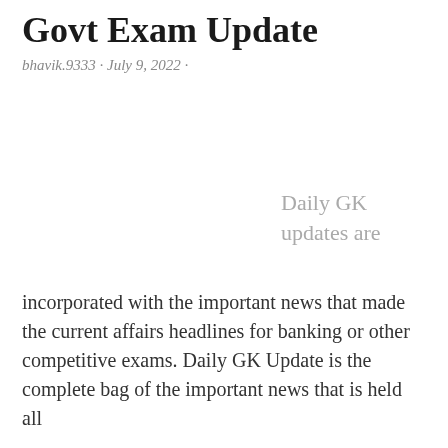Govt Exam Update
bhavik.9333 · July 9, 2022 ·
Daily GK updates are
incorporated with the important news that made the current affairs headlines for banking or other competitive exams. Daily GK Update is the complete bag of the important news that is held all